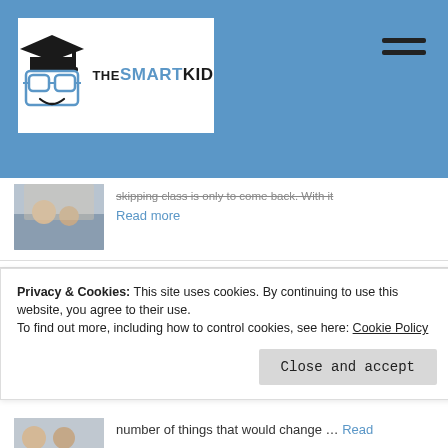[Figure (logo): The Smart Kid logo — graduation cap with glasses mascot and text THE SMART KID in black and blue]
…skipping class is only to come back. With it Read more
What Soft Skills are and how to develop them
9 October, 2020
Privacy & Cookies: This site uses cookies. By continuing to use this website, you agree to their use.
To find out more, including how to control cookies, see here: Cookie Policy
Close and accept
number of things that would change … Read